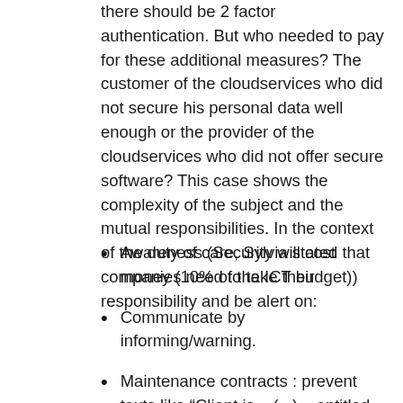there should be 2 factor authentication. But who needed to pay for these additional measures? The customer of the cloudservices who did not secure his personal data well enough or the provider of the cloudservices who did not offer secure software? This case shows the complexity of the subject and the mutual responsibilities. In the context of the duty of care, Sylvia stated that companies need to take their responsibility and be alert on:
Awareness (Security will cost money (10% of the ICT budget))
Communicate by informing/warning.
Maintenance contracts : prevent texts like “Client is – (...) – entitled to refuse